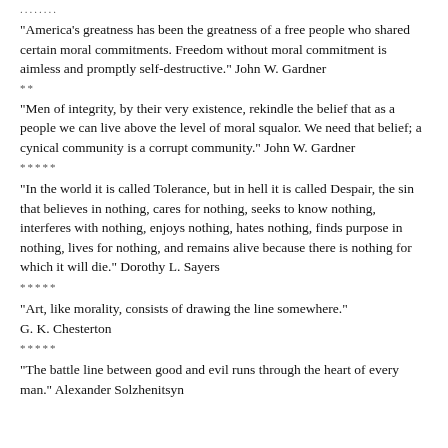........
“America’s greatness has been the greatness of a free people who shared certain moral commitments. Freedom without moral commitment is aimless and promptly self-destructive.” John W. Gardner
**
“Men of integrity, by their very existence, rekindle the belief that as a people we can live above the level of moral squalor. We need that belief; a cynical community is a corrupt community.” John W. Gardner
*****
“In the world it is called Tolerance, but in hell it is called Despair, the sin that believes in nothing, cares for nothing, seeks to know nothing, interferes with nothing, enjoys nothing, hates nothing, finds purpose in nothing, lives for nothing, and remains alive because there is nothing for which it will die.” Dorothy L. Sayers
*****
“Art, like morality, consists of drawing the line somewhere.” G. K. Chesterton
*****
“The battle line between good and evil runs through the heart of every man.” Alexander Solzhenitsyn